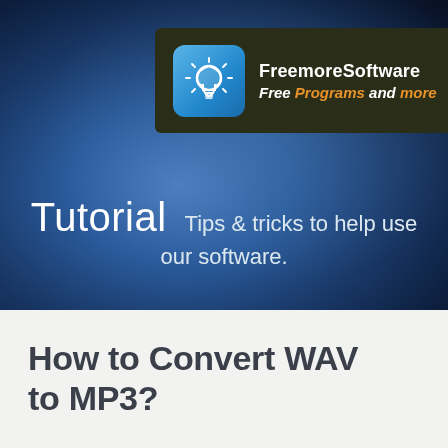[Figure (screenshot): Hero banner with dark blue gradient background. Contains FreemoreSoftware logo bar (dark olive/charcoal rectangle with light-bulb icon and brand name) and Tutorial tagline text overlay.]
How to Convert WAV to MP3?